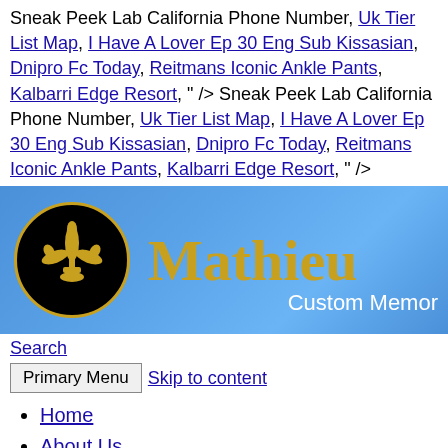Sneak Peek Lab California Phone Number, Uk Tier List Map, I Have A Lover Ep 30 Eng Sub Kissasian, Dnipro Fc Today, Reitmans Iconic Ankle Pants, Kalbarri Edge Resort, " /> Sneak Peek Lab California Phone Number, Uk Tier List Map, I Have A Lover Ep 30 Eng Sub Kissasian, Dnipro Fc Today, Reitmans Iconic Ankle Pants, Kalbarri Edge Resort, " />
[Figure (logo): Mathieu Custom Memorials banner with fleur-de-lis logo on blue gradient background]
Search
Primary Menu  Skip to content
Home
About Us
Products
Services
Civic & Municipal Designs
Answers
Photo Gallery
Granite Samples
Testimonials